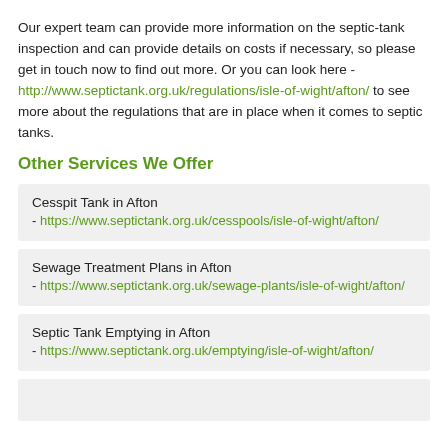Our expert team can provide more information on the septic-tank inspection and can provide details on costs if necessary, so please get in touch now to find out more. Or you can look here - http://www.septictank.org.uk/regulations/isle-of-wight/afton/ to see more about the regulations that are in place when it comes to septic tanks.
Other Services We Offer
Cesspit Tank in Afton - https://www.septictank.org.uk/cesspools/isle-of-wight/afton/
Sewage Treatment Plans in Afton - https://www.septictank.org.uk/sewage-plants/isle-of-wight/afton/
Septic Tank Emptying in Afton - https://www.septictank.org.uk/emptying/isle-of-wight/afton/